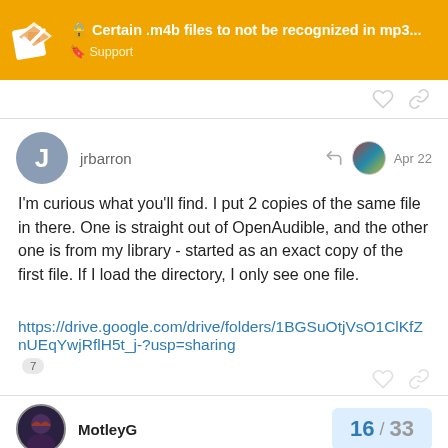Certain .m4b files to not be recognized in mp3... — Support
I'm curious what you'll find. I put 2 copies of the same file in there. One is straight out of OpenAudible, and the other one is from my library - started as an exact copy of the first file. If I load the directory, I only see one file.
https://drive.google.com/drive/folders/1BGSuOtjVsO1ClKfZnUEqYwjRflH5t_j-?usp=sharing  7
jrbarron  Apr 22
MotleyG  16 / 33